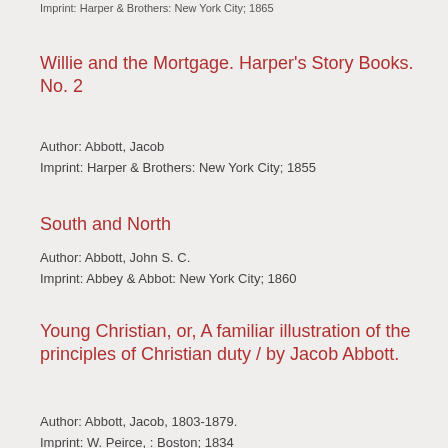Imprint: Harper & Brothers: New York City; 1865
Willie and the Mortgage. Harper's Story Books. No. 2
Author: Abbott, Jacob
Imprint: Harper & Brothers: New York City; 1855
South and North
Author: Abbott, John S. C.
Imprint: Abbey & Abbot: New York City; 1860
Young Christian, or, A familiar illustration of the principles of Christian duty / by Jacob Abbott.
Author: Abbott, Jacob, 1803-1879.
Imprint: W. Peirce, : Boston; 1834